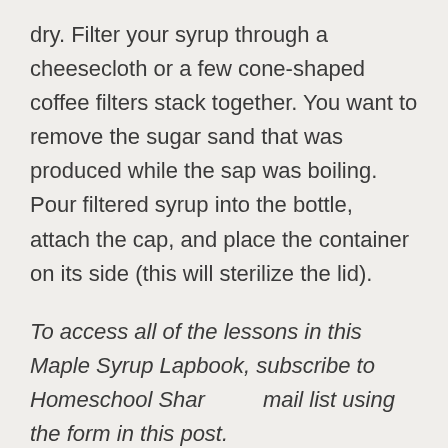dry. Filter your syrup through a cheesecloth or a few cone-shaped coffee filters stack together. You want to remove the sugar sand that was produced while the sap was boiling. Pour filtered syrup into the bottle, attach the cap, and place the container on its side (this will sterilize the lid).
To access all of the lessons in this Maple Syrup Lapbook, subscribe to Homeschool Share's email list using the form in this post.